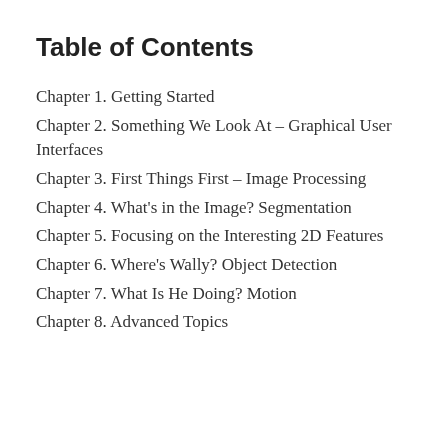Table of Contents
Chapter 1. Getting Started
Chapter 2. Something We Look At – Graphical User Interfaces
Chapter 3. First Things First – Image Processing
Chapter 4. What's in the Image? Segmentation
Chapter 5. Focusing on the Interesting 2D Features
Chapter 6. Where's Wally? Object Detection
Chapter 7. What Is He Doing? Motion
Chapter 8. Advanced Topics